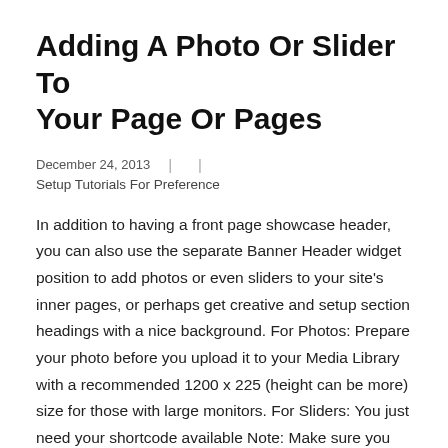Adding A Photo Or Slider To Your Page Or Pages
December 24, 2013  |  |
Setup Tutorials For Preference
In addition to having a front page showcase header, you can also use the separate Banner Header widget position to add photos or even sliders to your site's inner pages, or perhaps get creative and setup section headings with a nice background. For Photos: Prepare your photo before you upload it to your Media Library with a recommended 1200 x 225 (height can be more) size for those with large monitors. For Sliders: You just need your shortcode available Note: Make sure you have the “Advanced Text Wdget” plugin installed because this is a very flexible widget that lets you disable the title, output plus...